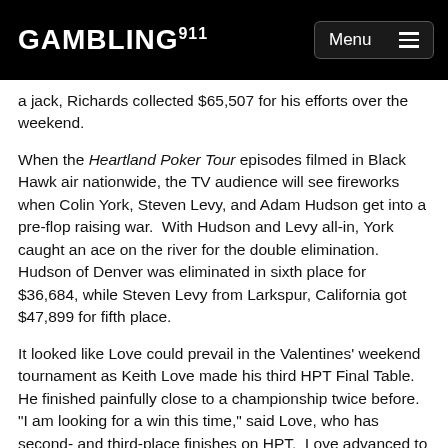GAMBLING911 Menu
a jack, Richards collected $65,507 for his efforts over the weekend.
When the Heartland Poker Tour episodes filmed in Black Hawk air nationwide, the TV audience will see fireworks when Colin York, Steven Levy, and Adam Hudson get into a pre-flop raising war.  With Hudson and Levy all-in, York caught an ace on the river for the double elimination. Hudson of Denver was eliminated in sixth place for $36,684, while Steven Levy from Larkspur, California got $47,899 for fifth place.
It looked like Love could prevail in the Valentines' weekend tournament as Keith Love made his third HPT Final Table.  He finished painfully close to a championship twice before.  "I am looking for a win this time," said Love, who has second- and third-place finishes on HPT.  Love advanced to Monday's Final Table where his luck ran out in the middle of the championship.